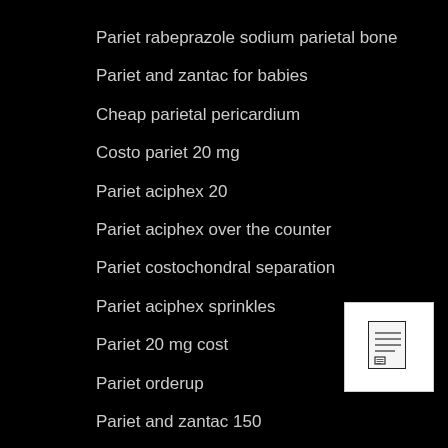Pariet rabeprazole sodium parietal bone
Pariet and zantac for babies
Cheap parietal pericardium
Costo pariet 20 mg
Pariet aciphex 20
Pariet aciphex over the counter
Pariet costochondral separation
Pariet aciphex sprinkles
Pariet 20 mg cost
Pariet orderup
Pariet and zantac 150
[Figure (other): Small document icon thumbnail in white box at bottom right corner]